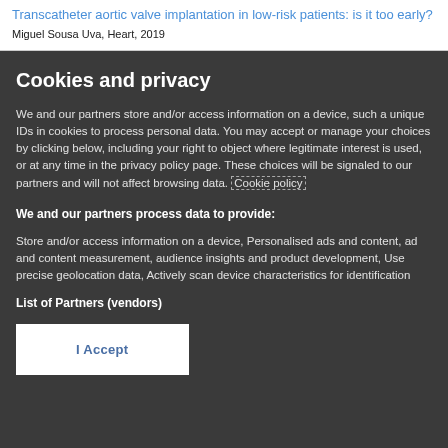Transcatheter aortic valve implantation in low-risk patients: is it too early?
Miguel Sousa Uva, Heart, 2019
Cookies and privacy
We and our partners store and/or access information on a device, such a unique IDs in cookies to process personal data. You may accept or manage your choices by clicking below, including your right to object where legitimate interest is used, or at any time in the privacy policy page. These choices will be signaled to our partners and will not affect browsing data. Cookie policy
We and our partners process data to provide:
Store and/or access information on a device, Personalised ads and content, ad and content measurement, audience insights and product development, Use precise geolocation data, Actively scan device characteristics for identification
List of Partners (vendors)
I Accept